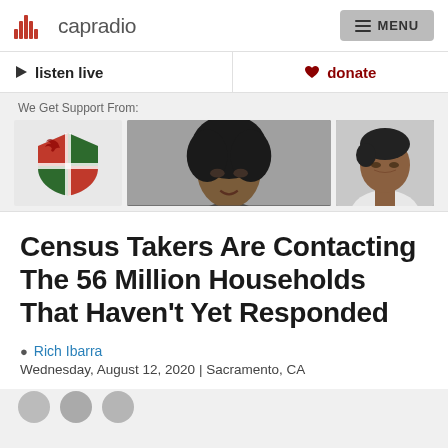capradio | MENU
listen live | donate
[Figure (photo): Sponsor banner with shield logo and two people looking down]
Census Takers Are Contacting The 56 Million Households That Haven't Yet Responded
Rich Ibarra
Wednesday, August 12, 2020 | Sacramento, CA